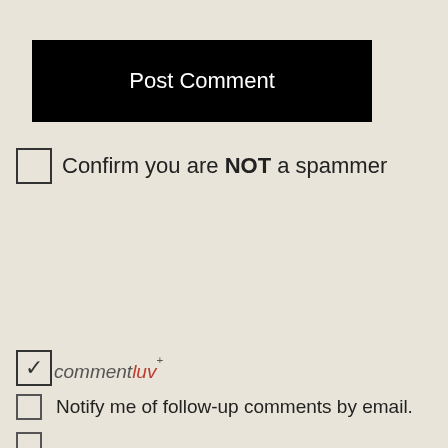Post Comment
Confirm you are NOT a spammer
[Figure (screenshot): Checked checkbox with CommentLuv+ logo]
Notify me of follow-up comments by email.